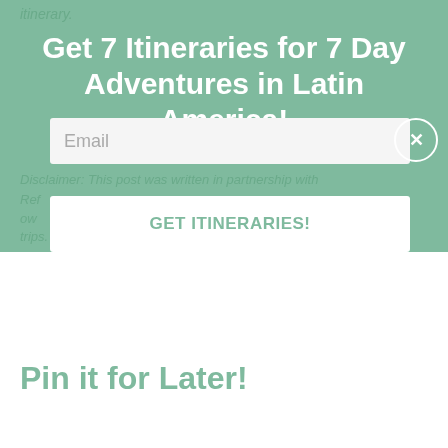itinerary.
Get 7 Itineraries for 7 Day Adventures in Latin America!
Email
GET ITINERARIES!
Disclaimer: This post was written in partnership with Ref… my own… r trips.
Pin it for Later!